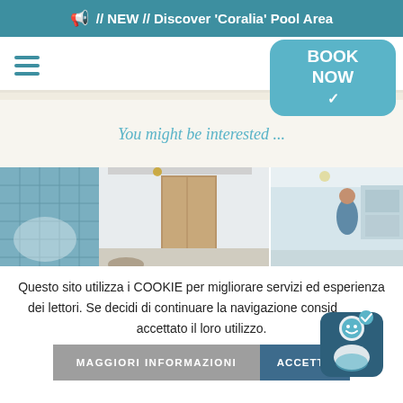📢 // NEW // Discover 'Coralia' Pool Area
[Figure (screenshot): Navigation bar with hamburger menu icon on left and 'BOOK NOW' teal button with checkmark on right]
You might be interested ...
[Figure (photo): Two hotel room photos side by side: left shows a room with blue tile wall and wood sliding door, right shows a person in a room]
Questo sito utilizza i COOKIE per migliorare servizi ed esperienza dei lettori. Se decidi di continuare la navigazione consideri accettato il loro utilizzo.
MAGGIORI INFORMAZIONI
ACCETTO